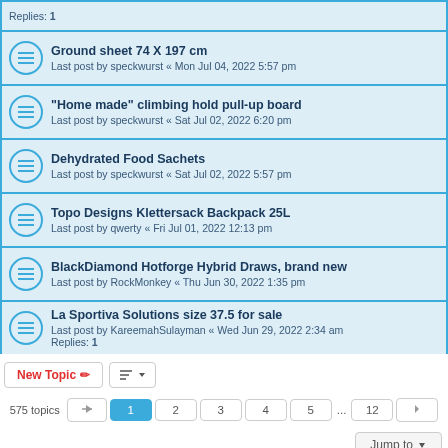Replies: 1
Ground sheet 74 X 197 cm — Last post by speckwurst « Mon Jul 04, 2022 5:57 pm
"Home made" climbing hold pull-up board — Last post by speckwurst « Sat Jul 02, 2022 6:20 pm
Dehydrated Food Sachets — Last post by speckwurst « Sat Jul 02, 2022 5:57 pm
Topo Designs Klettersack Backpack 25L — Last post by qwerty « Fri Jul 01, 2022 12:13 pm
BlackDiamond Hotforge Hybrid Draws, brand new — Last post by RockMonkey « Thu Jun 30, 2022 1:35 pm
La Sportiva Solutions size 37.5 for sale — Last post by KareemahSulayman « Wed Jun 29, 2022 2:34 am — Replies: 1
575 topics
FORUM PERMISSIONS
You cannot post new topics in this forum
You cannot reply to topics in this forum